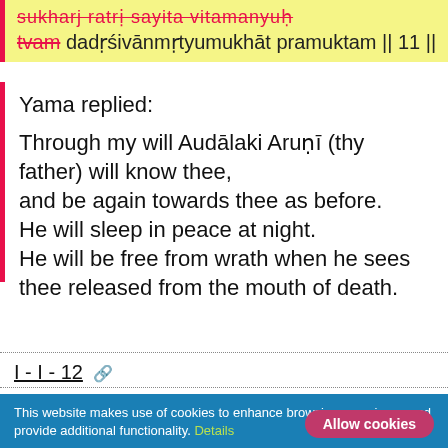sukharj ratri sayita vitamanyuh
tvam dadrśivānmṛtyumukhāt pramuktam || 11 ||
Yama replied:

Through my will Audālaki Aruṇī (thy father) will know thee,
and be again towards thee as before.
He will sleep in peace at night.
He will be free from wrath when he sees thee released from the mouth of death.
I - I - 12
Sanskrit verse line 1
Sanskrit verse line 2
This website makes use of cookies to enhance browsing experience and provide additional functionality. Details